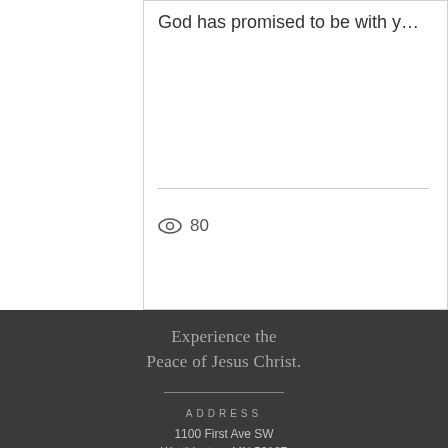God has promised to be with y…
80
Experience the Peace of Jesus Christ.
ADDRESS
1100 First Ave SW
Worthington, MN 56187
507-372-2811
pastorchad@wgtncrc.org
Listen To: